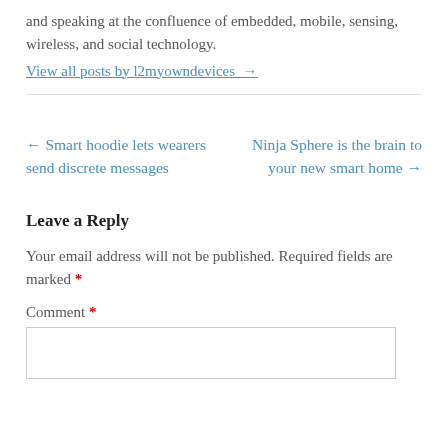and speaking at the confluence of embedded, mobile, sensing, wireless, and social technology.
View all posts by l2myowndevices →
← Smart hoodie lets wearers send discrete messages
Ninja Sphere is the brain to your new smart home →
Leave a Reply
Your email address will not be published. Required fields are marked *
Comment *